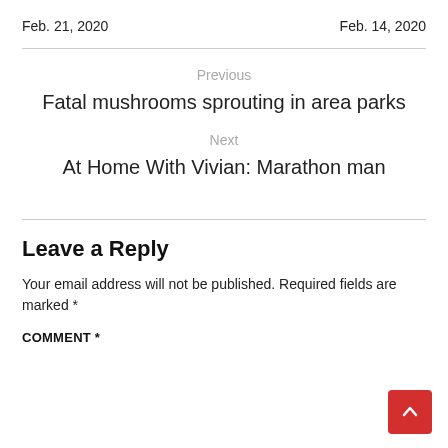Feb. 21, 2020     Feb. 14, 2020
Previous
Fatal mushrooms sprouting in area parks
Next
At Home With Vivian: Marathon man
Leave a Reply
Your email address will not be published. Required fields are marked *
COMMENT *